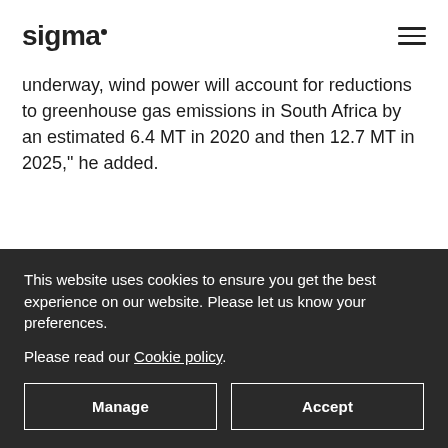sigma
underway, wind power will account for reductions to greenhouse gas emissions in South Africa by an estimated 6.4 MT in 2020 and then 12.7 MT in 2025," he added.
This website uses cookies to ensure you get the best experience on our website. Please let us know your preferences.
Please read our Cookie policy.